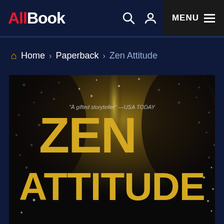AllBook — MENU
Home > Paperback > Zen Attitude
[Figure (photo): Book cover of 'Zen Attitude' showing large golden/yellow text 'ZEN ATTITUDE' on a dark background with a dotted/bokeh pattern. A quote reads 'A gifted storyteller' — USA TODAY.]